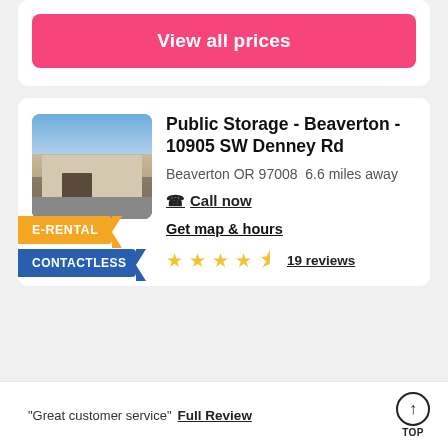View all prices
[Figure (photo): Exterior photo of Public Storage facility in Beaverton showing garage doors and building]
Public Storage - Beaverton - 10905 SW Denney Rd
Beaverton OR 97008  6.6 miles away
Call now
Get map & hours
E-RENTAL
CONTACTLESS
19 reviews
"Great customer service"
Full Review